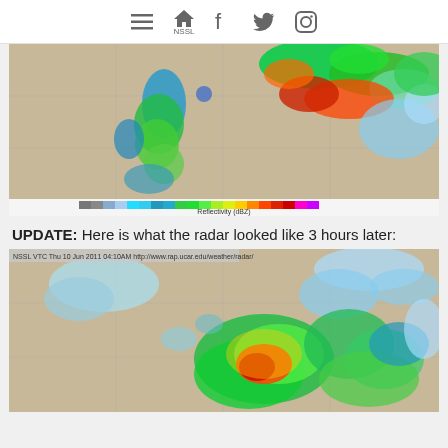Navigation icons: menu, NSSL home, Facebook, Twitter, Instagram
[Figure (photo): Weather radar reflectivity image showing precipitation patterns with color scale from gray to magenta. Shows storm cells with greens, blues, reds over a map region. Color scale bar at bottom labeled 'Reflectivity (dBZ)'.]
UPDATE: Here is what the radar looked like 3 hours later:
[Figure (photo): Second weather radar reflectivity image taken 3 hours later showing evolved storm system with large green and blue precipitation areas and red/orange cores in central-right portion of the map.]